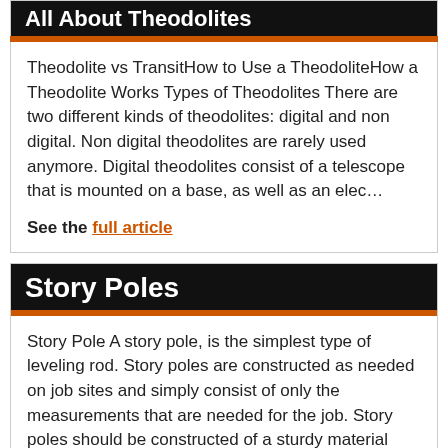All About Theodolites
Theodolite vs TransitHow to Use a TheodoliteHow a Theodolite Works Types of Theodolites There are two different kinds of theodolites: digital and non digital. Non digital theodolites are rarely used anymore. Digital theodolites consist of a telescope that is mounted on a base, as well as an elec…
See the full article
Story Poles
Story Pole A story pole, is the simplest type of leveling rod. Story poles are constructed as needed on job sites and simply consist of only the measurements that are needed for the job. Story poles should be constructed of a sturdy material such as lumber and construction netting; they